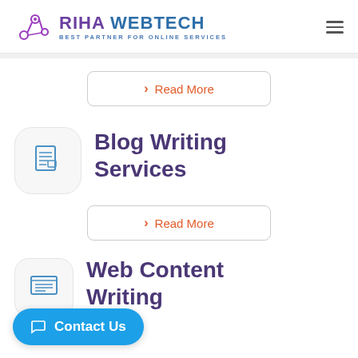RIHA WEBTECH — BEST PARTNER FOR ONLINE SERVICES
[Figure (other): Read More button with chevron icon, bordered rounded rectangle]
Blog Writing Services
[Figure (other): Read More button with chevron icon, bordered rounded rectangle]
Web Content Writing
[Figure (other): Contact Us floating chat button at bottom left]